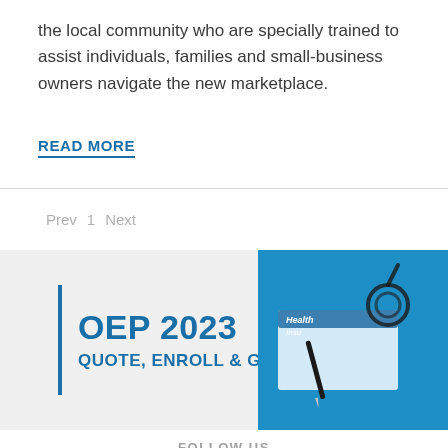the local community who are specially trained to assist individuals, families and small-business owners navigate the new marketplace.
READ MORE
Prev  1  Next
[Figure (infographic): OEP 2023 banner with blue vertical bar, bold blue text reading 'OEP 2023' and 'QUOTE, ENROLL & GO', and a photo of a health insurance document with a pen and stethoscope on the right side.]
FOLLOW US